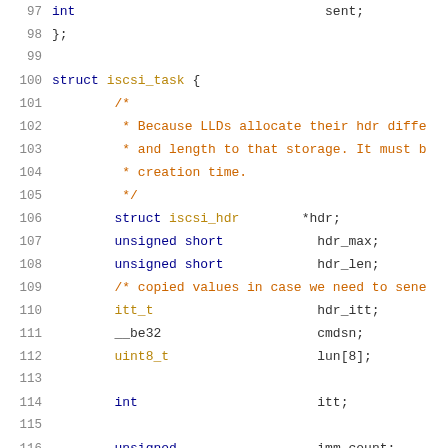97    int                     sent;
98  };
99
100 struct iscsi_task {
101         /*
102          * Because LLDs allocate their hdr diff
103          * and length to that storage. It must b
104          * creation time.
105          */
106         struct iscsi_hdr       *hdr;
107         unsigned short         hdr_max;
108         unsigned short         hdr_len;
109         /* copied values in case we need to sene
110         itt_t                  hdr_itt;
111         __be32                 cmdsn;
112         uint8_t                lun[8];
113
114         int                    itt;
115
116         unsigned               imm_count;
117         /* offset in unsolicited stream (bytes)